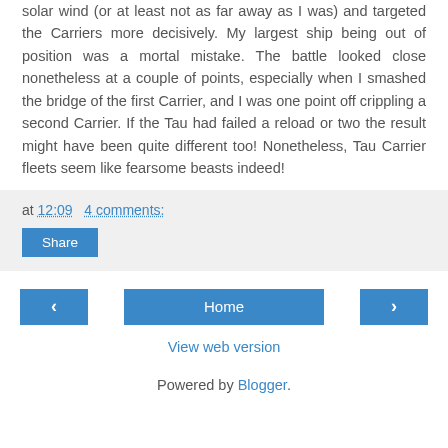solar wind (or at least not as far away as I was) and targeted the Carriers more decisively. My largest ship being out of position was a mortal mistake. The battle looked close nonetheless at a couple of points, especially when I smashed the bridge of the first Carrier, and I was one point off crippling a second Carrier. If the Tau had failed a reload or two the result might have been quite different too! Nonetheless, Tau Carrier fleets seem like fearsome beasts indeed!
at 12:09   4 comments:
Share
‹
Home
›
View web version
Powered by Blogger.